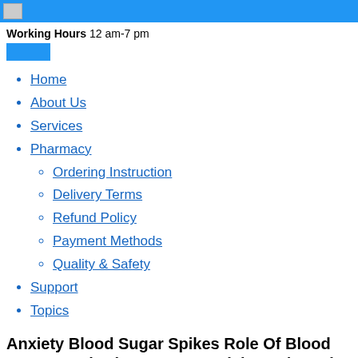Working Hours 12 am-7 pm
Home
About Us
Services
Pharmacy
Ordering Instruction
Delivery Terms
Refund Policy
Payment Methods
Quality & Safety
Support
Topics
Anxiety Blood Sugar Spikes Role Of Blood Sugar Monitoring In Type 2 Diabetes | Intedur
2021 Blood Sugar Levels anxiety blood sugar spikes Intedur the regulation of blood sugar is accomplished by the organ called the Blood Sugar Screening Test.
Although those worlds and continents are not too big, they are